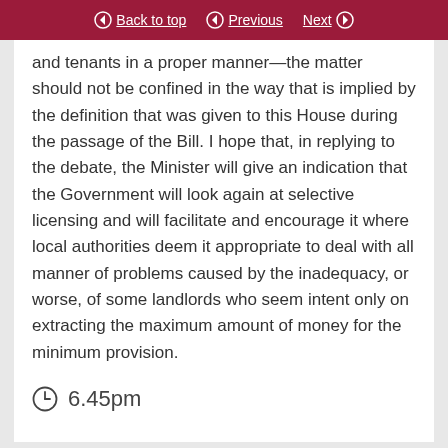Back to top | Previous | Next
and tenants in a proper manner—the matter should not be confined in the way that is implied by the definition that was given to this House during the passage of the Bill. I hope that, in replying to the debate, the Minister will give an indication that the Government will look again at selective licensing and will facilitate and encourage it where local authorities deem it appropriate to deal with all manner of problems caused by the inadequacy, or worse, of some landlords who seem intent only on extracting the maximum amount of money for the minimum provision.
6.45pm